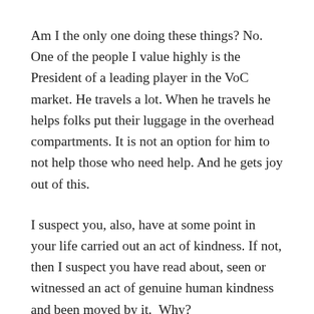Am I the only one doing these things? No. One of the people I value highly is the President of a leading player in the VoC market. He travels a lot. When he travels he helps folks put their luggage in the overhead compartments. It is not an option for him to not help those who need help. And he gets joy out of this.
I suspect you, also, have at some point in your life carried out an act of kindness. If not, then I suspect you have read about, seen or witnessed an act of genuine human kindness and been moved by it.  Why?
Here is my answer. We 'know' at some deep level that there is intrinsic value in a human being – a human life. Why? Because, for the most part, most of us are bound by that we treat each other in life to not fall…